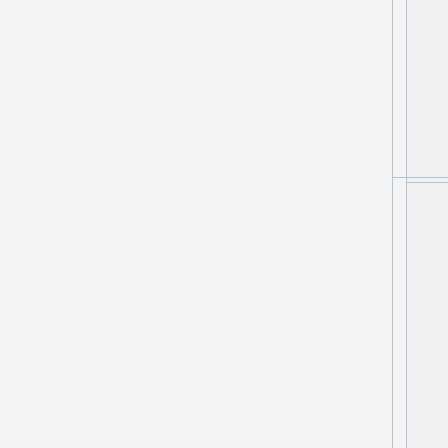| (blank) | Species | Study description |
| --- | --- | --- |
|  | Cordyceps militaris | …studies under different developmental stages and media[link] |
|  | Saccharum hybrid cultivar | Validation of novel reference genes for reverse transcription quantitative real-time PCR in drought-stressed sugarcane[link] |
|  | Hyriopsis cumingii | Identification of housekeeping genes suitable for gene expression analysis in the pearl mussel, Hyriopsis cumingii, during biomineralization[link] |
|  |  | Identification of suitable qPCR reference genes… |